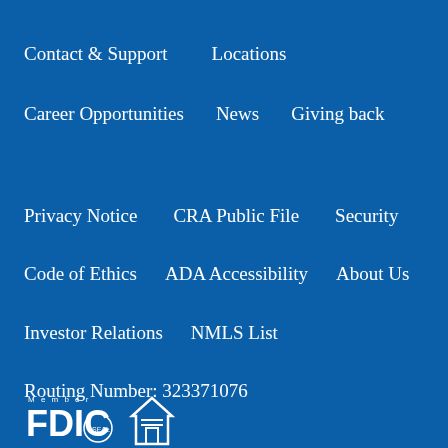Contact & Support    Locations
Career Opportunities    News    Giving back
Privacy Notice    CRA Public File    Security
Code of Ethics    ADA Accessibility    About Us
Investor Relations    NMLS List
Routing Number: 323371076
[Figure (logo): Member FDIC logo and Equal Housing Lender logo at bottom left]